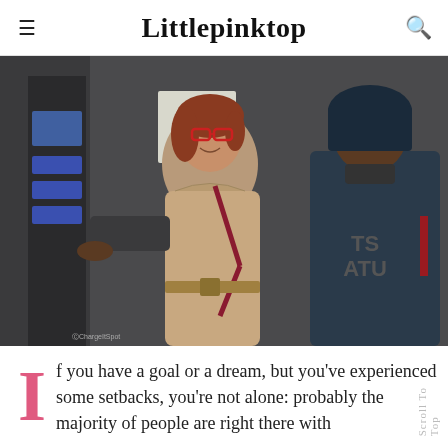Littlepinktop
[Figure (photo): Two people posing together indoors near a phone charging station kiosk. A woman with red glasses and a beige puffer coat with a red crossbody bag stands next to a taller person in a dark blue jacket and black t-shirt.]
If you have a goal or a dream, but you've experienced some setbacks, you're not alone: probably the majority of people are right there with